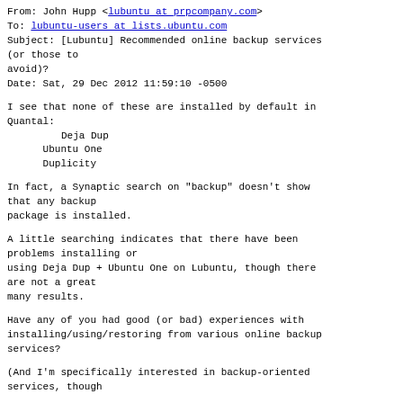From: John Hupp <lubuntu at prpcompany.com>
To: lubuntu-users at lists.ubuntu.com
Subject: [Lubuntu] Recommended online backup services (or those to avoid)?
Date: Sat, 29 Dec 2012 11:59:10 -0500
I see that none of these are installed by default in Quantal:
    Deja Dup
    Ubuntu One
    Duplicity
In fact, a Synaptic search on "backup" doesn't show that any backup package is installed.
A little searching indicates that there have been problems installing or using Deja Dup + Ubuntu One on Lubuntu, though there are not a great many results.
Have any of you had good (or bad) experiences with installing/using/restoring from various online backup services?
(And I'm specifically interested in backup-oriented services, though